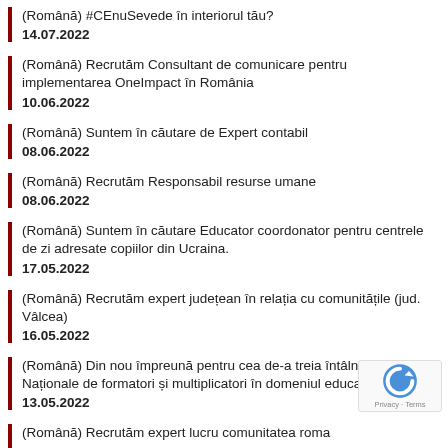(Română) #CEnuSevede în interiorul tău?
14.07.2022
(Română) Recrutăm Consultant de comunicare pentru implementarea OneImpact în România
10.06.2022
(Română) Suntem în căutare de Expert contabil
08.06.2022
(Română) Recrutăm Responsabil resurse umane
08.06.2022
(Română) Suntem în căutare Educator coordonator pentru centrele de zi adresate copiilor din Ucraina.
17.05.2022
(Română) Recrutăm expert județean în relația cu comunitățile (jud. Vâlcea)
16.05.2022
(Română) Din nou împreună pentru cea de-a treia întâlnire a Rețelei Naționale de formatori și multiplicatori în domeniul educației incluzive
13.05.2022
(Română) Recrutăm expert lucru comunitatea roma
12.05.2022